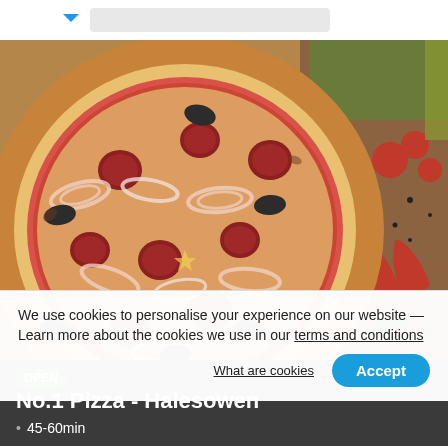[Figure (photo): Top portion of a website showing a pizza food delivery page. A large pizza with olives, salami, and onion rings is shown on a wooden board with tomatoes and chili peppers beside it.]
OPEN  15:00 - 00:00 Open
No.1 Pizza - Halesowen
45-60min
We use cookies to personalise your experience on our website — Learn more about the cookies we use in our terms and conditions
What are cookies    Accept